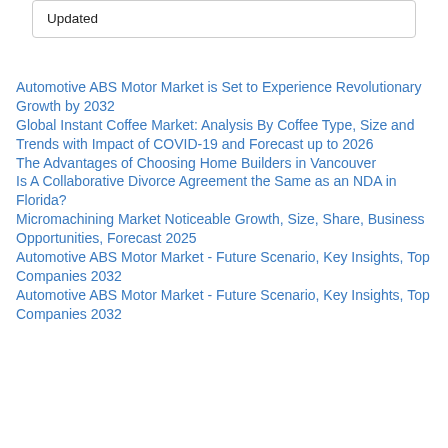Updated
Automotive ABS Motor Market is Set to Experience Revolutionary Growth by 2032
Global Instant Coffee Market: Analysis By Coffee Type, Size and Trends with Impact of COVID-19 and Forecast up to 2026
The Advantages of Choosing Home Builders in Vancouver
Is A Collaborative Divorce Agreement the Same as an NDA in Florida?
Micromachining Market Noticeable Growth, Size, Share, Business Opportunities, Forecast 2025
Automotive ABS Motor Market - Future Scenario, Key Insights, Top Companies 2032
Automotive ABS Motor Market - Future Scenario, Key Insights, Top Companies 2032